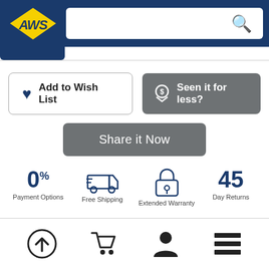[Figure (logo): AWS logo with yellow lightning bolt diamond shape and blue text]
[Figure (screenshot): Search bar with magnifying glass icon on right]
[Figure (screenshot): Add to Wish List button with heart icon and Seen it for less? button with dollar icon]
[Figure (screenshot): Share it Now button]
[Figure (infographic): Four benefit icons: 0% Payment Options, Free Shipping truck, Extended Warranty lock, 45 Day Returns]
[Figure (screenshot): Bottom navigation bar with upload, cart, user, and menu icons]